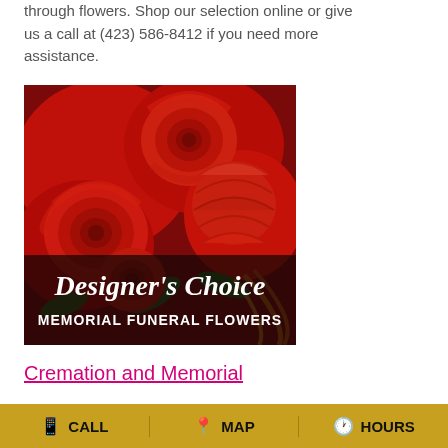through flowers. Shop our selection online or give us a call at (423) 586-8412 if you need more assistance.
[Figure (photo): Floral arrangement of red roses and carnations with a dark banner overlay reading "Designer's Choice MEMORIAL FUNERAL FLOWERS"]
Cremation and Memorial
Cremation and Memorial Flowers
CALL   MAP   HOURS